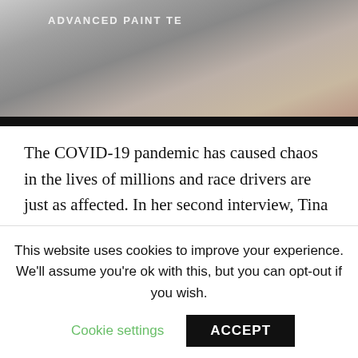[Figure (photo): Partial photo of a person wearing a race driver outfit near signage reading 'ADVANCED PAINT TE...' with a hand visible on the right]
The COVID-19 pandemic has caused chaos in the lives of millions and race drivers are just as affected. In her second interview, Tina Mitchell talks to driver Nico Rondet about how he is coping with staying home, changes to his physical training, the importance of nutrition and
This website uses cookies to improve your experience. We'll assume you're ok with this, but you can opt-out if you wish.
Cookie settings
ACCEPT